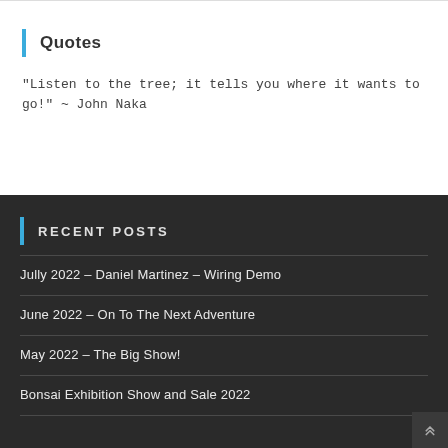Quotes
"Listen to the tree; it tells you where it wants to go!" ~ John Naka
Recent Posts
Jully 2022 – Daniel Martinez – Wiring Demo
June 2022 – On To The Next Adventure
May 2022 – The Big Show!
Bonsai Exhibition Show and Sale 2022